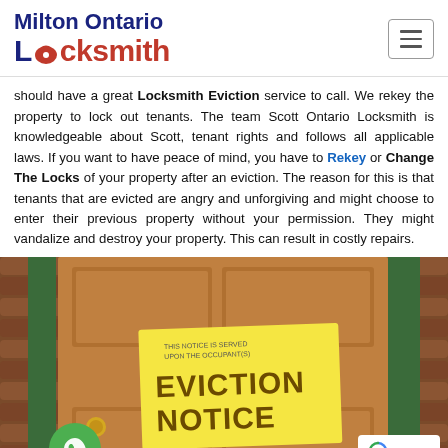Milton Ontario Locksmith
should have a great Locksmith Eviction service to call. We rekey the property to lock out tenants. The team Scott Ontario Locksmith is knowledgeable about Scott, tenant rights and follows all applicable laws. If you want to have peace of mind, you have to Rekey or Change The Locks of your property after an eviction. The reason for this is that tenants that are evicted are angry and unforgiving and might choose to enter their previous property without your permission. They might vandalize and destroy your property. This can result in costly repairs.
[Figure (photo): A wooden door with a yellow Eviction Notice posted on it, with log cabin wall visible behind, a green phone call button at bottom left, and a reCAPTCHA privacy badge at bottom right.]